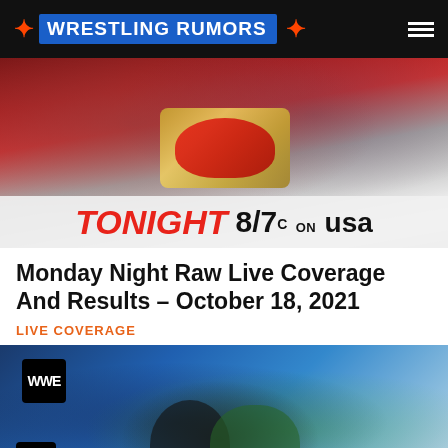WRESTLING RUMORS
[Figure (photo): WWE Monday Night Raw promotional image showing two female wrestlers with championship belt, text reading TONIGHT 8/7c on USA]
Monday Night Raw Live Coverage And Results – October 18, 2021
LIVE COVERAGE
[Figure (photo): WWE wrestling match photo showing two female wrestlers grappling in the ring with WWE logos visible on the ring posts]